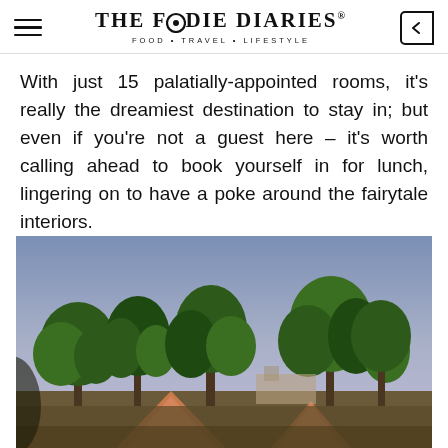THE FOODIE DIARIES® FOOD · TRAVEL · LIFESTYLE
With just 15 palatially-appointed rooms, it's really the dreamiest destination to stay in; but even if you're not a guest here – it's worth calling ahead to book yourself in for lunch, lingering on to have a poke around the fairytale interiors.
[Figure (photo): Outdoor photo showing tall green trees against a blue-purple sky with orange tent canopies visible at the bottom of the frame]